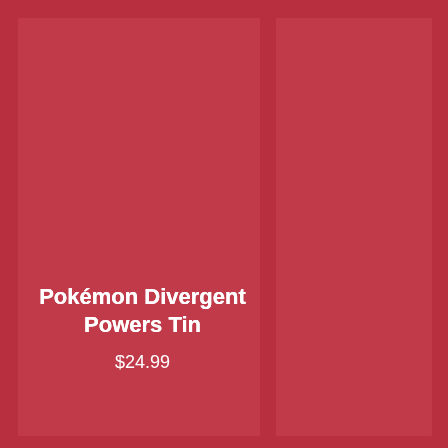[Figure (illustration): Product listing card on dark red background showing two lighter red rectangular panels side by side representing product images for a Pokémon Divergent Powers Tin]
Pokémon Divergent Powers Tin
$24.99